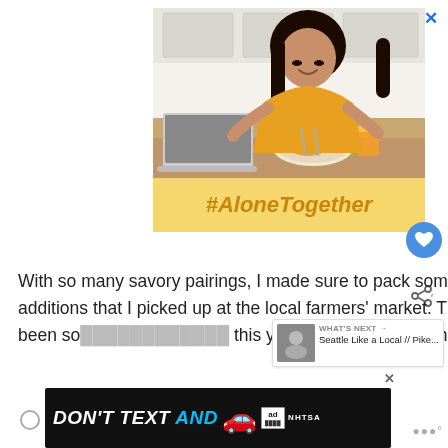[Figure (photo): Young Asian woman in a yellow top smiling and eating at a kitchen table with a laptop, plate of food, and glass of orange juice. Below the photo is a yellow banner with #AloneTogether in orange bold italic text. This is a social media advertisement image.]
With so many savory pairings, I made sure to pack some sweet additions that I picked up at the local farmers' market. The berries have been so [good] this year. I can't get enough.
[Figure (infographic): Bottom banner advertisement: black background with 'DON'T TEXT AND' in white and cyan bold italic text, a red car emoji, an Ad badge, and NHTSA logo in white text. This is a NHTSA public service advertisement about texting and driving.]